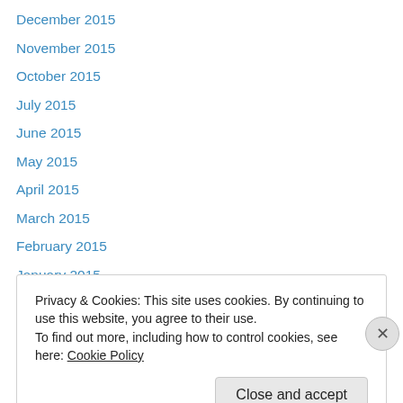December 2015
November 2015
October 2015
July 2015
June 2015
May 2015
April 2015
March 2015
February 2015
January 2015
December 2014
November 2014
October 2014
Privacy & Cookies: This site uses cookies. By continuing to use this website, you agree to their use.
To find out more, including how to control cookies, see here: Cookie Policy
Close and accept